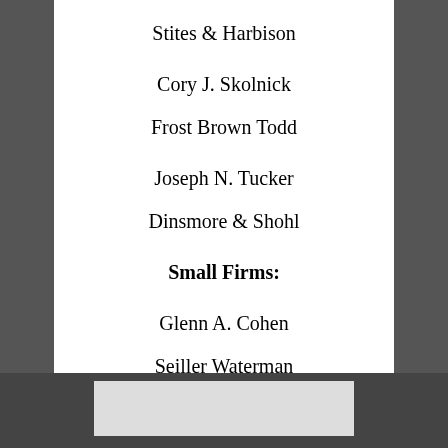Stites & Harbison
Cory J. Skolnick
Frost Brown Todd
Joseph N. Tucker
Dinsmore & Shohl
Small Firms:
Glenn A. Cohen
Seiller Waterman
Donald L. Cox